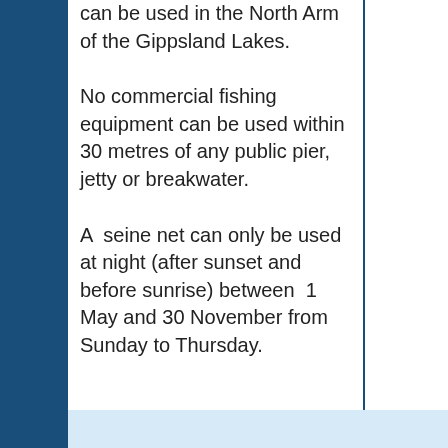can be used in the North Arm of the Gippsland Lakes.
No commercial fishing equipment can be used within 30 metres of any public pier, jetty or breakwater.
A  seine net can only be used at night (after sunset and before sunrise) between  1 May and 30 November from Sunday to Thursday.